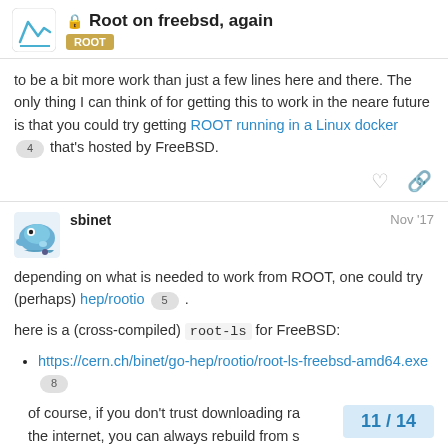Root on freebsd, again — ROOT
to be a bit more work than just a few lines here and there. The only thing I can think of for getting this to work in the neare future is that you could try getting ROOT running in a Linux docker 4 that's hosted by FreeBSD.
sbinet Nov '17
depending on what is needed to work from ROOT, one could try (perhaps) hep/rootio 5 .
here is a (cross-compiled) root-ls for FreeBSD:
https://cern.ch/binet/go-hep/rootio/root-ls-freebsd-amd64.exe 8
of course, if you don't trust downloading ra the internet, you can always rebuild from s
11 / 14